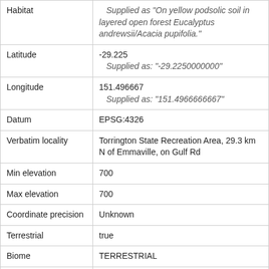| Field | Value |
| --- | --- |
| Habitat | Supplied as "On yellow podsolic soil in layered open forest Eucalyptus andrewsii/Acacia pupifolia." |
| Latitude | -29.225
Supplied as: "-29.2250000000" |
| Longitude | 151.496667
Supplied as: "151.4966666667" |
| Datum | EPSG:4326 |
| Verbatim locality | Torrington State Recreation Area, 29.3 km N of Emmaville, on Gulf Rd |
| Min elevation | 700 |
| Max elevation | 700 |
| Coordinate precision | Unknown |
| Terrestrial | true |
| Biome | TERRESTRIAL |
| Marine | false |